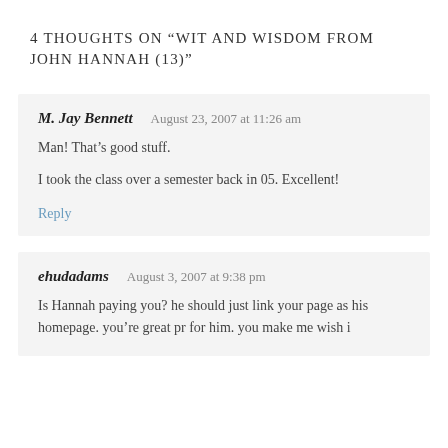4 thoughts on “Wit and Wisdom from John Hannah (13)”
M. Jay Bennett    August 23, 2007 at 11:26 am
Man! That’s good stuff.
I took the class over a semester back in 05. Excellent!
Reply
ehudadams    August 3, 2007 at 9:38 pm
Is Hannah paying you? he should just link your page as his homepage. you’re great pr for him. you make me wish i